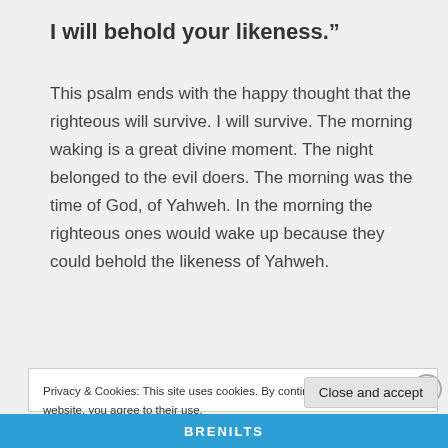I will behold your likeness.”
This psalm ends with the happy thought that the righteous will survive. I will survive. The morning waking is a great divine moment. The night belonged to the evil doers. The morning was the time of God, of Yahweh. In the morning the righteous ones would wake up because they could behold the likeness of Yahweh.
Privacy & Cookies: This site uses cookies. By continuing to use this website, you agree to their use.
To find out more, including how to control cookies, see here: Cookie Policy